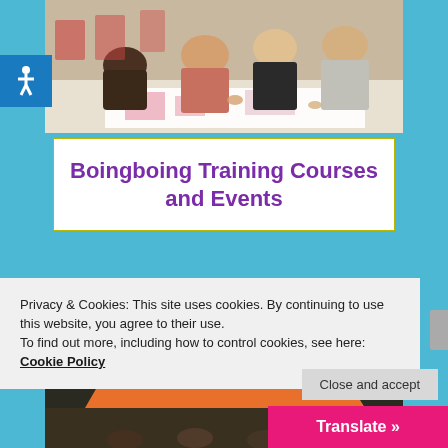[Figure (photo): People kneeling on floor working on a large printed sheet or poster with pink and white pattern, in a classroom or workshop setting.]
Boingboing Training Courses and Events
[Figure (photo): Theatre or auditorium with dark blue seats and an orange/coral colored object on stage.]
Privacy & Cookies: This site uses cookies. By continuing to use this website, you agree to their use.
To find out more, including how to control cookies, see here: Cookie Policy